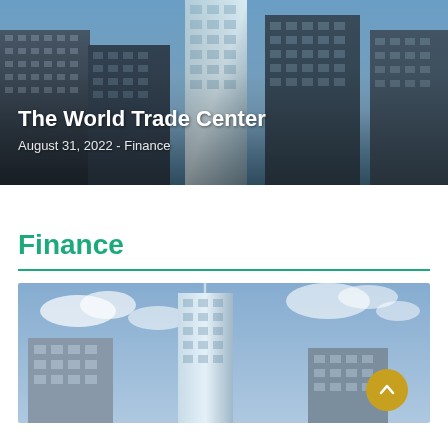[Figure (photo): Aerial/street-level photo of World Trade Center skyscrapers with blue sky background. Title overlay reads 'The World Trade Center' and date 'August 31, 2022 - Finance'.]
The World Trade Center
August 31, 2022 - Finance
Finance
[Figure (photo): Upward-angle photo of World Trade Center and surrounding skyscrapers against a cloudy blue sky.]